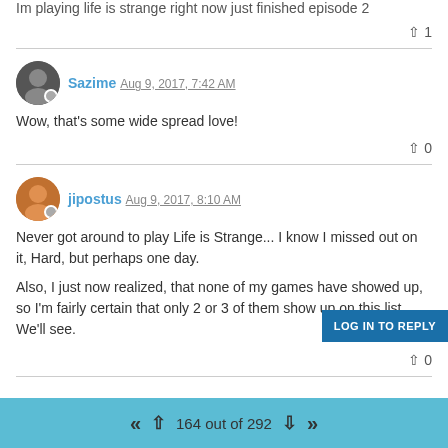Im playing life is strange right now just finished episode 2
▲ 1
Sazime Aug 9, 2017, 7:42 AM
Wow, that's some wide spread love!
▲ 0
jipostus Aug 9, 2017, 8:10 AM
Never got around to play Life is Strange... I know I missed out on it, Hard, but perhaps one day.

Also, I just now realized, that none of my games have showed up, so I'm fairly certain that only 2 or 3 of them show up on this list. We'll see.
▲ 0
164 out of 292
LOG IN TO REPLY